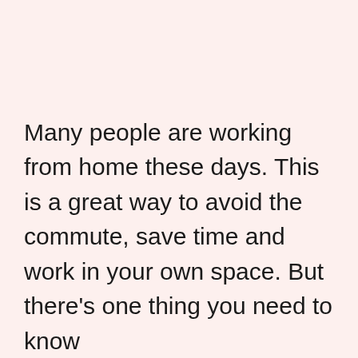Many people are working from home these days. This is a great way to avoid the commute, save time and work in your own space. But there's one thing you need to know